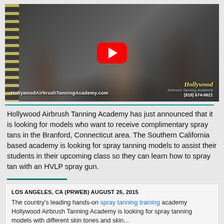[Figure (photo): YouTube video thumbnail showing Hollywood Airbrush Tanning Academy. Women in a tanning salon, one receiving a spray tan treatment. A red YouTube play button overlay is visible in the center. The URL HollywoodAirbrushTanningAcademy.com appears bottom-left, and the Hollywood Airbrush Tanning Academy logo with phone number (818) 674-9621 appears bottom-right.]
Hollywood Airbrush Tanning Academy has just announced that it is looking for models who want to receive complimentary spray tans in the Branford, Connecticut area. The Southern California based academy is looking for spray tanning models to assist their students in their upcoming class so they can learn how to spray tan with an HVLP spray gun.
LOS ANGELES, CA (PRWEB) AUGUST 26, 2015

The country's leading hands-on spray tanning training academy Hollywood Airbrush Tanning Academy is looking for spray tanning models with different skin tones and skin...